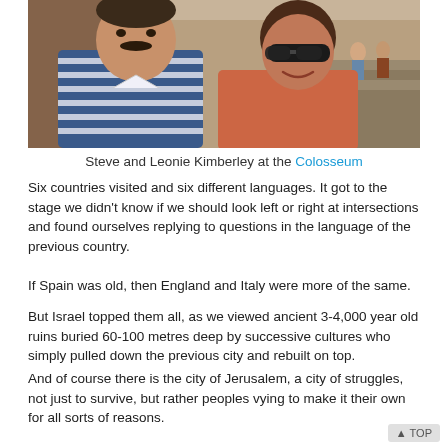[Figure (photo): Photo of Steve and Leonie Kimberley taking a selfie at the Colosseum, outdoors in a sunny setting. A man with a mustache wearing a striped shirt is on the left, and a woman wearing sunglasses is on the right.]
Steve and Leonie Kimberley at the Colosseum
Six countries visited and six different languages. It got to the stage we didn't know if we should look left or right at intersections and found ourselves replying to questions in the language of the previous country.
If Spain was old, then England and Italy were more of the same.
But Israel topped them all, as we viewed ancient 3-4,000 year old ruins buried 60-100 metres deep by successive cultures who simply pulled down the previous city and rebuilt on top.
And of course there is the city of Jerusalem, a city of struggles, not just to survive, but rather peoples vying to make it their own for all sorts of reasons.